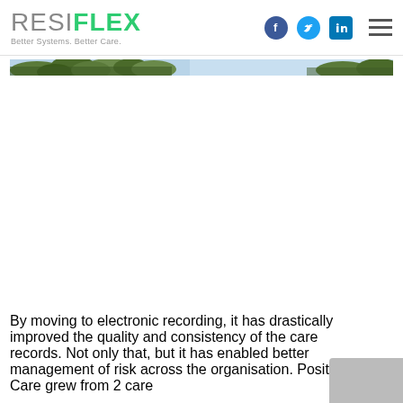RESIFLEX Better Systems. Better Care.
[Figure (photo): A narrow horizontal banner image showing trees and sky, cropped from a larger photograph.]
By moving to electronic recording, it has drastically improved the quality and consistency of the care records. Not only that, but it has enabled better management of risk across the organisation. Positive Care grew from 2 care